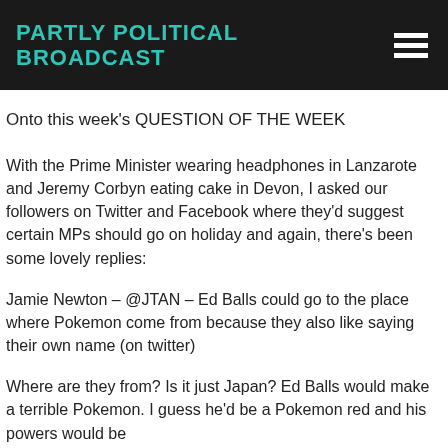PARTLY POLITICAL BROADCAST
Onto this week's QUESTION OF THE WEEK
With the Prime Minister wearing headphones in Lanzarote and Jeremy Corbyn eating cake in Devon, I asked our followers on Twitter and Facebook where they'd suggest certain MPs should go on holiday and again, there's been some lovely replies:
Jamie Newton – @JTAN – Ed Balls could go to the place where Pokemon come from because they also like saying their own name (on twitter)
Where are they from? Is it just Japan? Ed Balls would make a terrible Pokemon. I guess he'd be a Pokemon red and his powers would be